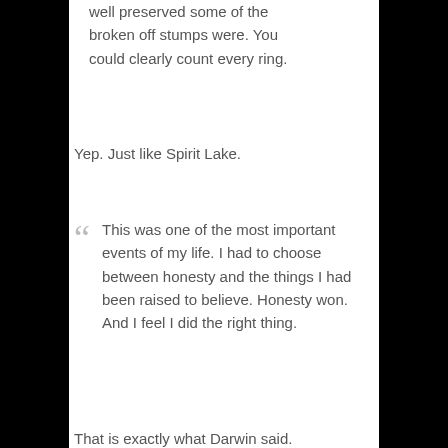well preserved some of the broken off stumps were. You could clearly count every ring.
Yep. Just like Spirit Lake.
This was one of the most important events of my life. I had to choose between honesty and the things I had been raised to believe. Honesty won. And I feel I did the right thing.
That is exactly what Darwin said.